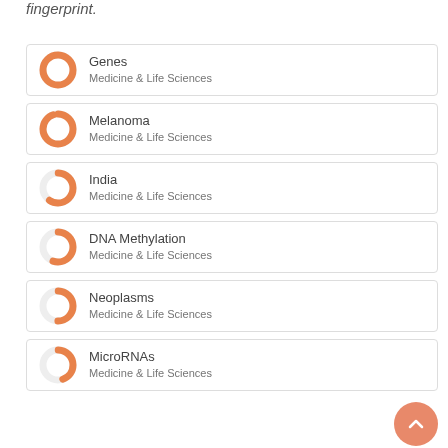fingerprint.
Genes — Medicine & Life Sciences
Melanoma — Medicine & Life Sciences
India — Medicine & Life Sciences
DNA Methylation — Medicine & Life Sciences
Neoplasms — Medicine & Life Sciences
MicroRNAs — Medicine & Life Sciences